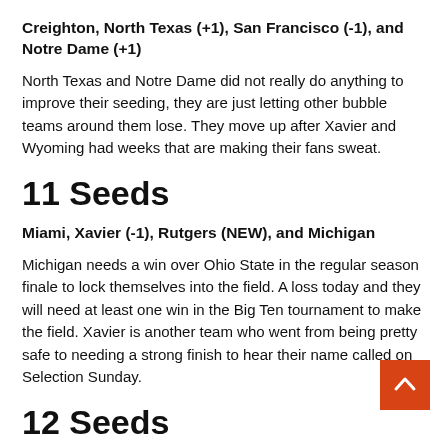Creighton, North Texas (+1), San Francisco (-1), and Notre Dame (+1)
North Texas and Notre Dame did not really do anything to improve their seeding, they are just letting other bubble teams around them lose. They move up after Xavier and Wyoming had weeks that are making their fans sweat.
11 Seeds
Miami, Xavier (-1), Rutgers (NEW), and Michigan
Michigan needs a win over Ohio State in the regular season finale to lock themselves into the field. A loss today and they will need at least one win in the Big Ten tournament to make the field. Xavier is another team who went from being pretty safe to needing a strong finish to hear their name called on Selection Sunday.
12 Seeds